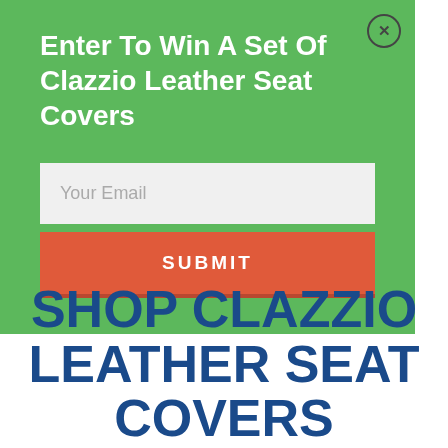Enter To Win A Set Of Clazzio Leather Seat Covers
Your Email
SUBMIT
SHOP CLAZZIO LEATHER SEAT COVERS